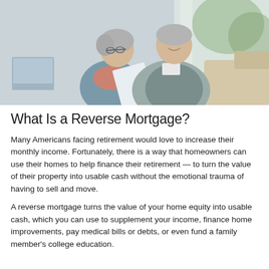[Figure (photo): An elderly couple sitting together on a couch, looking at a document. The woman has gray hair, glasses, and a pink/coral scarf. The man has gray hair and is wearing a gray vest over a white shirt. A laptop is visible on the left. Bright natural light in the background.]
What Is a Reverse Mortgage?
Many Americans facing retirement would love to increase their monthly income. Fortunately, there is a way that homeowners can use their homes to help finance their retirement — to turn the value of their property into usable cash without the emotional trauma of having to sell and move.
A reverse mortgage turns the value of your home equity into usable cash, which you can use to supplement your income, finance home improvements, pay medical bills or debts, or even fund a family member's college education.